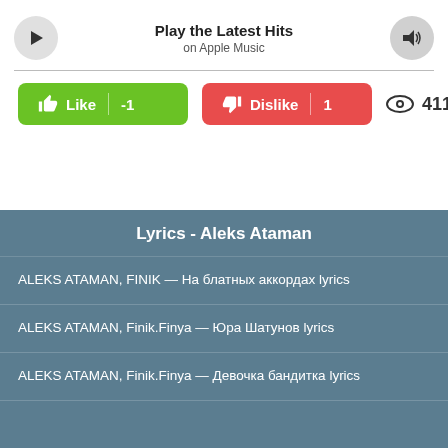[Figure (screenshot): Apple Music player bar with play button, track title 'Play the Latest Hits', subtitle 'on Apple Music', and volume button]
[Figure (screenshot): Like button (green, -1), Dislike button (red, 1), and view count eye icon with 411]
Lyrics - Aleks Ataman
ALEKS ATAMAN, FINIK — На блатных аккордах lyrics
ALEKS ATAMAN, Finik.Finya — Юра Шатунов lyrics
ALEKS ATAMAN, Finik.Finya — Девочка бандитка lyrics